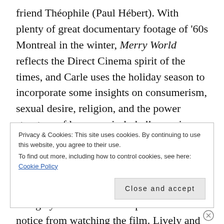friend Théophile (Paul Hébert). With plenty of great documentary footage of '60s Montreal in the winter, Merry World reflects the Direct Cinema spirit of the times, and Carle uses the holiday season to incorporate some insights on consumerism, sexual desire, religion, and the power structure of language in la belle province (something more notable in the French language version of the film). Carle filmed Merry World over 18 months due to an almost snowless season in Montreal, though you would be hard-pressed to notice from watching the film. Lively and good-natured, this cleverly edited, slice-
Privacy & Cookies: This site uses cookies. By continuing to use this website, you agree to their use.
To find out more, including how to control cookies, see here: Cookie Policy
Close and accept